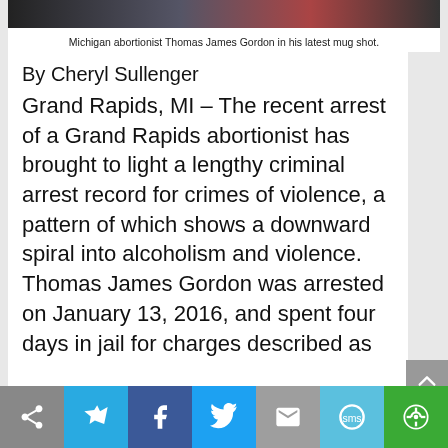[Figure (photo): Top portion of a mug shot photo of Michigan abortionist Thomas James Gordon]
Michigan abortionist Thomas James Gordon in his latest mug shot.
By Cheryl Sullenger
Grand Rapids, MI – The recent arrest of a Grand Rapids abortionist has brought to light a lengthy criminal arrest record for crimes of violence, a pattern of which shows a downward spiral into alcoholism and violence. Thomas James Gordon was arrested on January 13, 2016, and spent four days in jail for charges described as
[Figure (other): Social share bar with icons: share, send, Facebook, Twitter, email, SMS, and another icon]